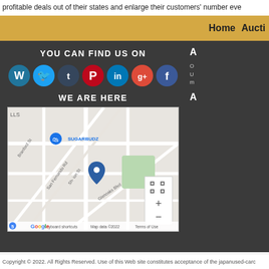profitable deals out of their states and enlarge their customers' number eve
Home  Aucti
YOU CAN FIND US ON
[Figure (other): Social media icons row: WordPress, Twitter, Tumblr, Pinterest, LinkedIn, Google+, Facebook]
WE ARE HERE
[Figure (map): Google Maps showing location near Sugarbudz on San Fernando Rd area, with a blue pin marker. Shows Branford St, San Fernando Rd, Glenoaks Blvd. Map data 2022. Keyboard shortcuts. Terms of Use. Google logo.]
A
O U m A
Copyright © 2022. All Rights Reserved. Use of this Web site constitutes acceptance of the japanused-carc...